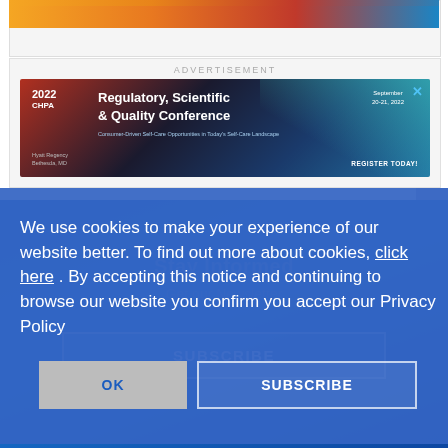[Figure (photo): Top orange/red gradient image bar at top of page]
ADVERTISEMENT
[Figure (screenshot): 2022 CHPA Regulatory, Scientific & Quality Conference advertisement banner. Hyatt Regency Bethesda, MD. September 20-21, 2022. Register Today.]
[Figure (screenshot): Stay Informed section with blue gradient background showing 'Stay Informed' heading, 'Get our Newsletter' subtext, and SUBSCRIBE button]
We use cookies to make your experience of our website better. To find out more about cookies, click here . By accepting this notice and continuing to browse our website you confirm you accept our Privacy Policy
OK
SUBSCRIBE